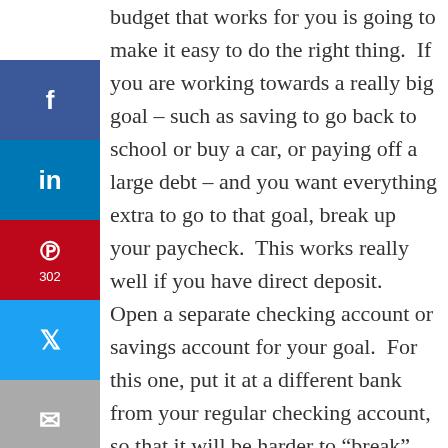[Figure (other): Social media sharing sidebar with Facebook, LinkedIn, Pinterest (302), Twitter, and Email buttons]
budget that works for you is going to make it easy to do the right thing. If you are working towards a really big goal – such as saving to go back to school or buy a car, or paying off a large debt – and you want everything extra to go to that goal, break up your paycheck. This works really well if you have direct deposit. Open a separate checking account or savings account for your goal. For this one, put it at a different bank from your regular checking account, so that it will be harder to "break" your budget by transferring money back and forth. Make sure you won't be getting charged any fees. Most banks will let you avoid the monthly fee with a regular direct deposit (which you want to be doing anyways!)